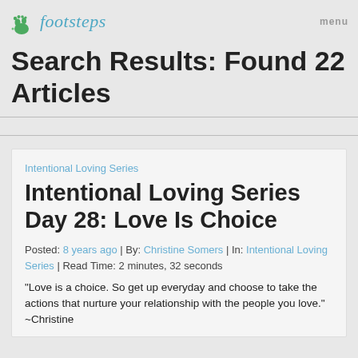[Figure (logo): Footsteps logo with green footprint icon and teal italic text reading 'footsteps']
Search Results: Found 22 Articles
Intentional Loving Series
Intentional Loving Series Day 28: Love Is Choice
Posted: 8 years ago | By: Christine Somers | In: Intentional Loving Series | Read Time: 2 minutes, 32 seconds
"Love is a choice. So get up everyday and choose to take the actions that nurture your relationship with the people you love." ~Christine